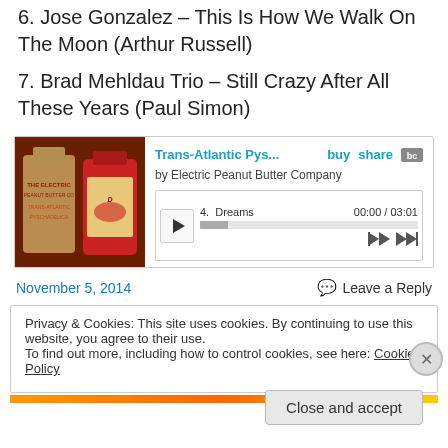6. Jose Gonzalez – This Is How We Walk On The Moon (Arthur Russell)
7. Brad Mehldau Trio – Still Crazy After All These Years (Paul Simon)
[Figure (screenshot): Bandcamp embedded music player widget for 'Trans-Atlantic Pys...' by Electric Peanut Butter Company. Shows album art, track 4 Dreams, duration 00:00 / 03:01, play button, progress bar, and skip controls. Links for buy, share, and Bandcamp logo.]
November 5, 2014
Leave a Reply
Privacy & Cookies: This site uses cookies. By continuing to use this website, you agree to their use.
To find out more, including how to control cookies, see here: Cookie Policy